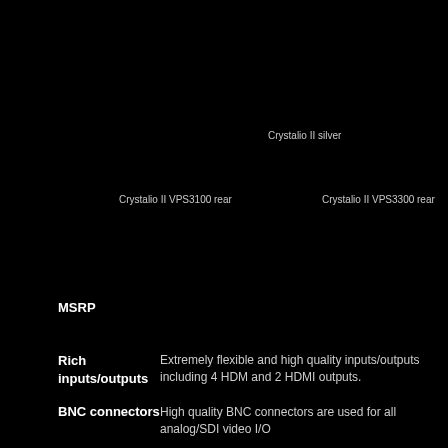Crystalio II silver
Crystalio II VPS3100 rear
Crystalio II VPS3300 rear
MSRP
Rich inputs/outputs
Extremely flexible and high quality inputs/outputs including 4 HDMI and 2 HDMI outputs.
BNC connectors
High quality BNC connectors are used for all analog/SDI video I/O